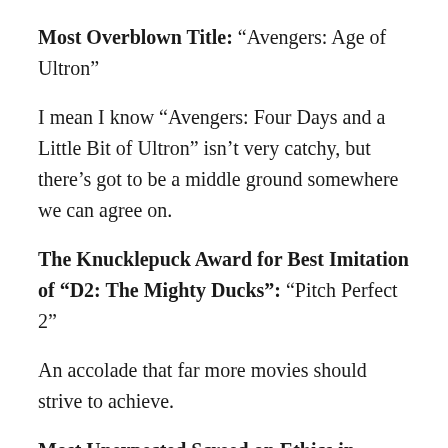Most Overblown Title: “Avengers: Age of Ultron”
I mean I know “Avengers: Four Days and a Little Bit of Ultron” isn’t very catchy, but there’s got to be a middle ground somewhere we can agree on.
The Knucklepuck Award for Best Imitation of “D2: The Mighty Ducks”: “Pitch Perfect 2”
An accolade that far more movies should strive to achieve.
Most Unexpected Screed on Ethics in Documentary Filmmaking: “While We’re Young”
I think Adam Driver: Manipulative Documentarian is actually still a more frightening villain than Kylo Ren.